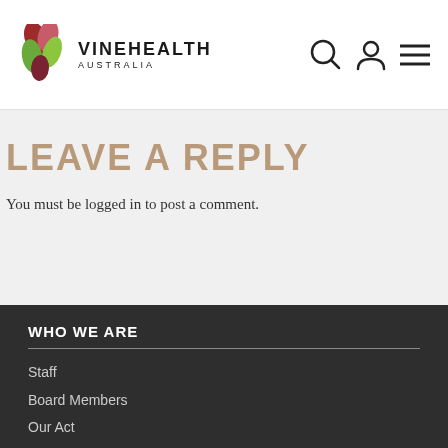[Figure (logo): VineHealth Australia logo with stylized leaf/petal SVG icon in red, pink, and green, and bold text VINEHEALTH with AUSTRALIA below]
[Figure (infographic): Navigation icons: search (magnifying glass circle), user/account (person silhouette), and hamburger menu (three horizontal lines)]
LEAVE A REPLY
You must be logged in to post a comment.
WHO WE ARE
Staff
Board Members
Our Act
What We Do
Strategic Agenda